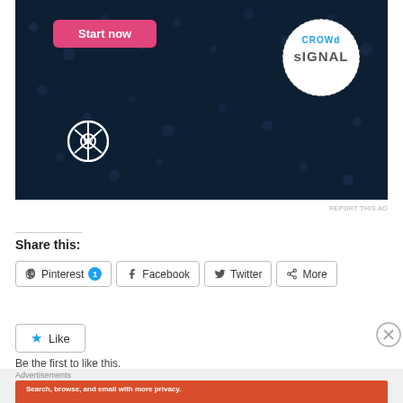[Figure (screenshot): Advertisement banner with dark navy background showing 'Start now' pink button, WordPress logo, and Crowdsignal circular logo with dotted border]
REPORT THIS AD
Share this:
Pinterest 1
Facebook
Twitter
More
Like
Be the first to like this.
Advertisements
[Figure (screenshot): DuckDuckGo advertisement on orange/red background: 'Search, browse, and email with more privacy. All in One Free App' with DuckDuckGo phone mockup]